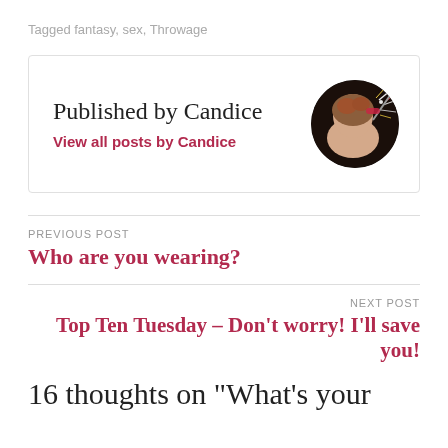Tagged fantasy, sex, Throwage
Published by Candice
View all posts by Candice
[Figure (photo): Circular avatar photo of a young girl with a sparkler, dark background]
PREVIOUS POST
Who are you wearing?
NEXT POST
Top Ten Tuesday – Don't worry! I'll save you!
16 thoughts on "What's your